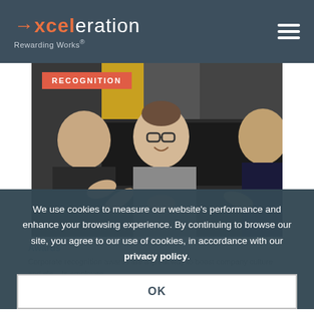→xceleration Rewarding Works®
[Figure (photo): Photo of three business professionals in an office setting, a woman in the center smiling and clapping with glasses on, a man on the left gesturing, and a man on the right partially visible.]
RECOGNITION
Awards
Corporate recognition awards are a great way to boost company culture and ele... ts employee
We use cookies to measure our website's performance and enhance your browsing experience. By continuing to browse our site, you agree to our use of cookies, in accordance with our privacy policy.
OK